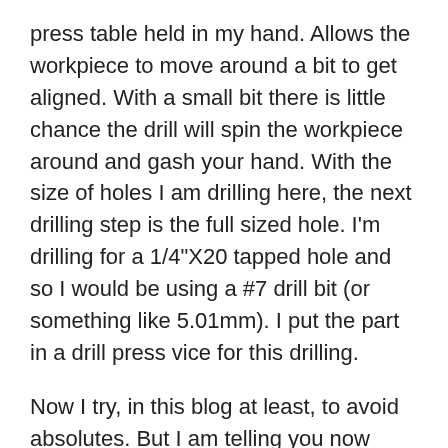press table held in my hand. Allows the workpiece to move around a bit to get aligned. With a small bit there is little chance the drill will spin the workpiece around and gash your hand. With the size of holes I am drilling here, the next drilling step is the full sized hole. I'm drilling for a 1/4"X20 tapped hole and so I would be using a #7 drill bit (or something like 5.01mm). I put the part in a drill press vice for this drilling.
Now I try, in this blog at least, to avoid absolutes. But I am telling you now something you should heed. When drilling in stainless steel your drill bits have to be sharp and of good quality. Really, any other bits are just the road to perdition. What ever country of origin you like your bits to be from, buy the best you can. I think at one time nothing could beat US made made twist drill bits. But there are